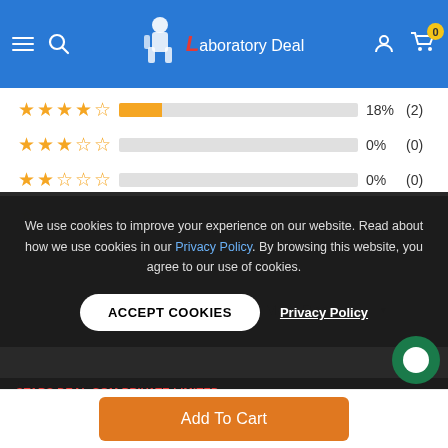Laboratory Deal - header navigation with menu, search, logo, user account, cart (0)
[Figure (bar-chart): Star rating distribution]
Most Recent (dropdown)
We use cookies to improve your experience on our website. Read about how we use cookies in our Privacy Policy. By browsing this website, you agree to our use of cookies.
ACCEPT COOKIES
Privacy Policy
Done good service
We for more contact https://labd.co
STARS DEAL.COM PRIVATE LIMITED
Add To Cart